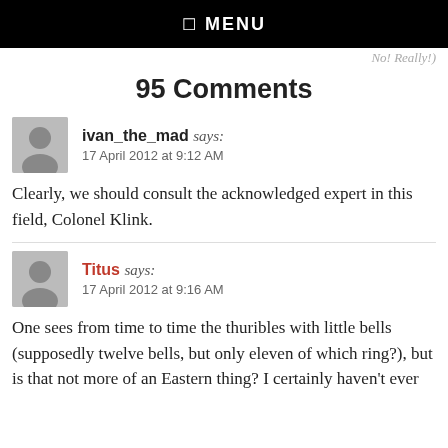☰ MENU
No! Really!)
95 Comments
ivan_the_mad says:
17 April 2012 at 9:12 AM
Clearly, we should consult the acknowledged expert in this field, Colonel Klink.
Titus says:
17 April 2012 at 9:16 AM
One sees from time to time the thuribles with little bells (supposedly twelve bells, but only eleven of which ring?), but is that not more of an Eastern thing? I certainly haven't ever